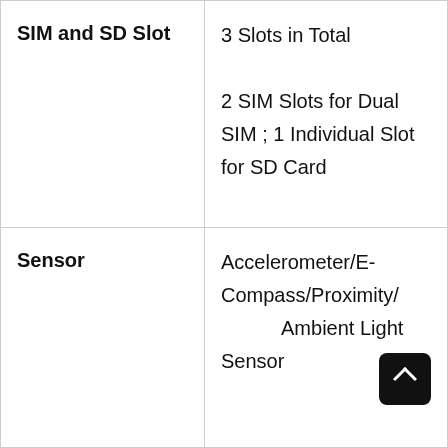| Feature | Details |
| --- | --- |
| SIM and SD Slot | 3 Slots in Total

2 SIM Slots for Dual SIM ; 1 Individual Slot for SD Card |
| Sensor | Accelerometer/E-Compass/Proximity/Ambient Light Sensor |